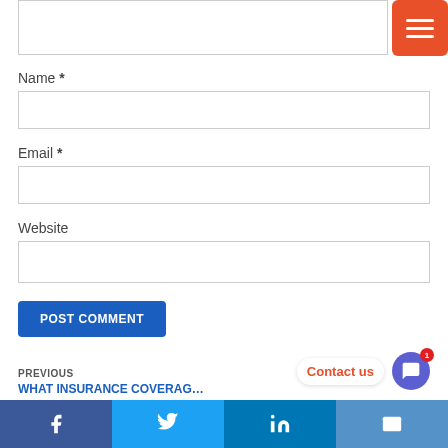[Figure (screenshot): Orange hamburger menu button in top right corner]
Name *
[Figure (screenshot): Name input text field]
Email *
[Figure (screenshot): Email input text field]
Website
[Figure (screenshot): Website input text field]
POST COMMENT
PREVIOUS
WHAT INSURANCE COVERAG…
Contact us
[Figure (screenshot): Social sharing bar with Facebook, Twitter, LinkedIn, and Email icons]